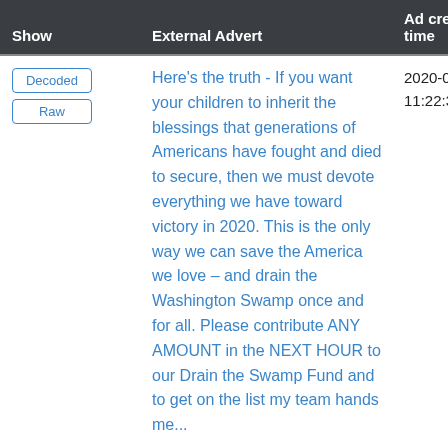| Show | External Advert | Ad creation time |
| --- | --- | --- |
| Decoded / Raw | Here's the truth - If you want your children to inherit the blessings that generations of Americans have fought and died to secure, then we must devote everything we have toward victory in 2020. This is the only way we can save the America we love – and drain the Washington Swamp once and for all. Please contribute ANY AMOUNT in the NEXT HOUR to our Drain the Swamp Fund and to get on the list my team hands me... | 2020-08-24 11:22:37 UTC |